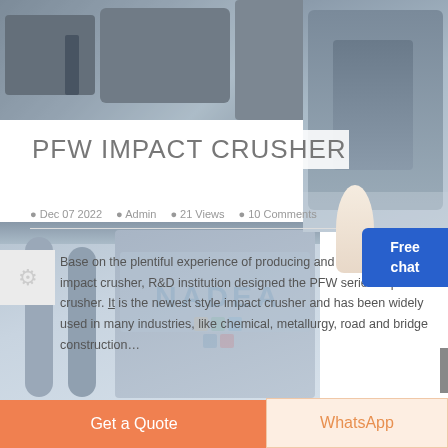[Figure (photo): Industrial crusher/mining equipment in a factory setting, top banner photo]
PFW IMPACT CRUSHER
Dec 07 2022   Admin   21 Views   10 Comments
Base on the plentiful experience of producing and marketing of impact crusher, R&D institution designed the PFW series impact crusher. It is the newest style impact crusher and has been widely used in many industries, like chemical, metallurgy, road and bridge construction…
READ MORE
[Figure (photo): Industrial facility with pipes and ductwork, lower section photo]
Get a Quote
WhatsApp